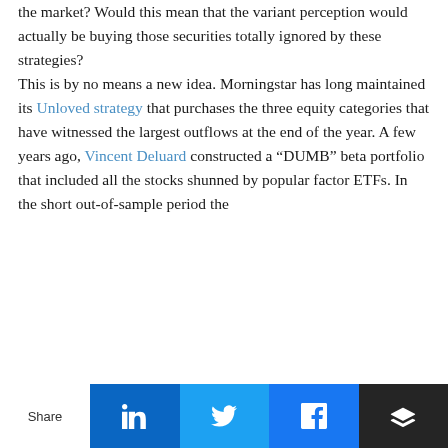the market?  Would this mean that the variant perception would actually be buying those securities totally ignored by these strategies?

This is by no means a new idea. Morningstar has long maintained its Unloved strategy that purchases the three equity categories that have witnessed the largest outflows at the end of the year.  A few years ago, Vincent Deluard constructed a “DUMB” beta portfolio that included all the stocks shunned by popular factor ETFs. In the short out-of-sample period the
Share | LinkedIn | Twitter | Facebook | Buffer